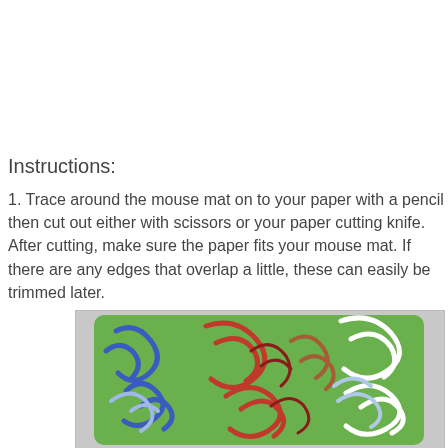Instructions:
1. Trace around the mouse mat on to your paper with a pencil then cut out either with scissors or your paper cutting knife. After cutting, make sure the paper fits your mouse mat. If there are any edges that overlap a little, these can easily be trimmed later.
[Figure (photo): A green mouse mat with decorative swirl patterns in blue, red, and white.]